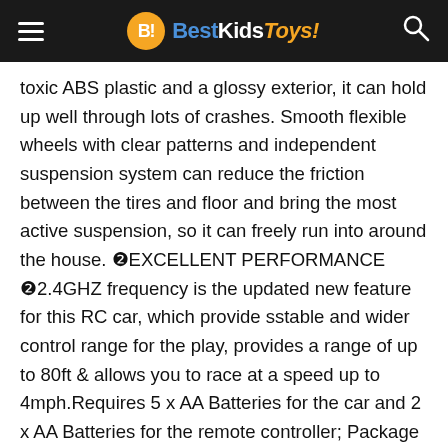BestKidsToys!
toxic ABS plastic and a glossy exterior, it can hold up well through lots of crashes. Smooth flexible wheels with clear patterns and independent suspension system can reduce the friction between the tires and floor and bring the most active suspension, so it can freely run into around the house. ❙EXCELLENT PERFORMANCE ❙2.4GHZ frequency is the updated new feature for this RC car, which provide sstable and wider control range for the play, provides a range of up to 80ft & allows you to race at a speed up to 4mph.Requires 5 x AA Batteries for the car and 2 x AA Batteries for the remote controller; Package includes 1 x 1/14 remote control car,1 x dual-grip remote-controller and 1 x user guide ❙IDEAL REMOTE CONTROL LAMBO FOR BOYS/ADULTS❙ Round edges to protect children from getting injury. The model Lambo Sián FKP 37 works well on smooth surface,